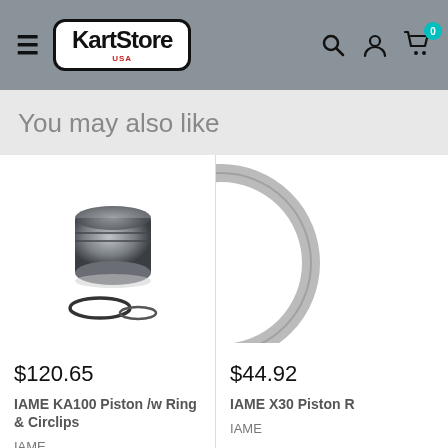KartStore USA
You may also like
[Figure (photo): IAME KA100 piston with ring and circlips product photo]
$120.65
IAME KA100 Piston /w Ring & Circlips
IAME
[Figure (photo): IAME X30 Piston Ring product photo (partially cropped)]
$44.92
IAME X30 Piston R
IAME